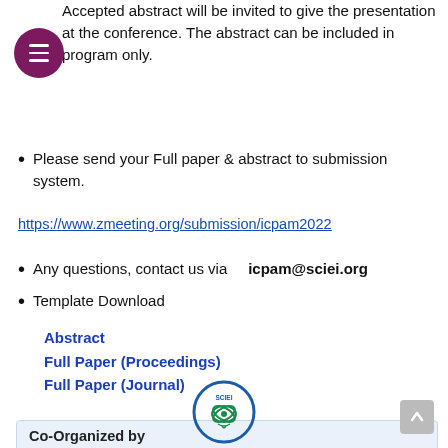Accepted abstract will be invited to give the presentation at the conference. The abstract can be included in program only.
Please send your Full paper & abstract to submission system.
https://www.zmeeting.org/submission/icpam2022
Any questions, contact us via   icpam@sciei.org
Template Download
Abstract
Full Paper (Proceedings)
Full Paper (Journal)
Co-Organized by
[Figure (logo): SCIEI circular logo with globe and green leaf design]